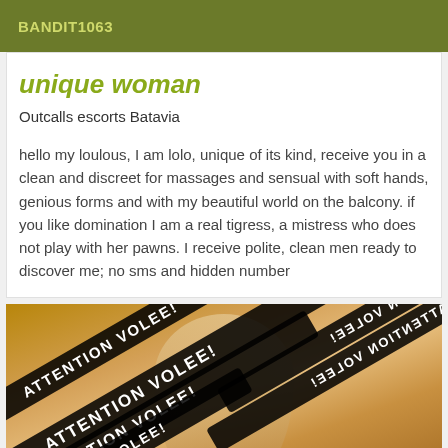BANDIT1063
unique woman
Outcalls escorts Batavia
hello my loulous, I am lolo, unique of its kind, receive you in a clean and discreet for massages and sensual with soft hands, genious forms and with my beautiful world on the balcony. if you like domination I am a real tigress, a mistress who does not play with her pawns. I receive polite, clean men ready to discover me; no sms and hidden number
[Figure (photo): Photo of a woman on a couch/sofa with diagonal watermark ribbons overlaid reading text in mirrored/reversed orientation including 'ATTENTION VOLEE' and similar watermark text]